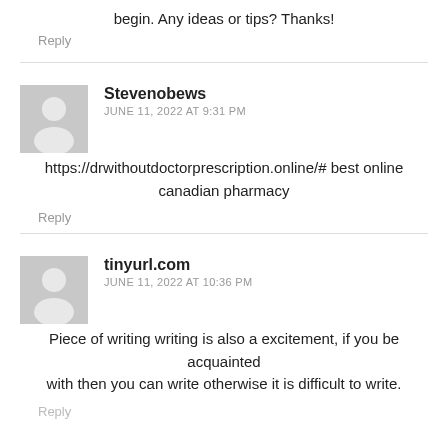begin. Any ideas or tips? Thanks!
Reply
Stevenobews
JUNE 11, 2022 AT 9:31 PM
https://drwithoutdoctorprescription.online/# best online canadian pharmacy
Reply
tinyurl.com
JUNE 11, 2022 AT 10:36 PM
Piece of writing writing is also a excitement, if you be acquainted with then you can write otherwise it is difficult to write.
Reply